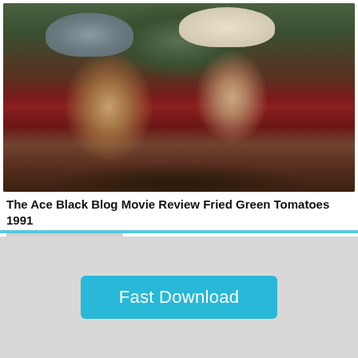[Figure (photo): Two women wearing hats outdoors — one in a grey felt hat with white shirt, vest and tie; the other in a cream bucket hat with a dark floral/patterned dress with red collar detail. Film still from Fried Green Tomatoes 1991.]
The Ace Black Blog Movie Review Fried Green Tomatoes 1991
www.theaceblackblog.com
[Figure (other): Download button (green) labeled '⬇ Download']
[Figure (photo): Partial image strip showing warm tan/brown tones — bottom portion of a second image.]
[Figure (other): Fast Download button (cyan/blue) in bottom grey section]